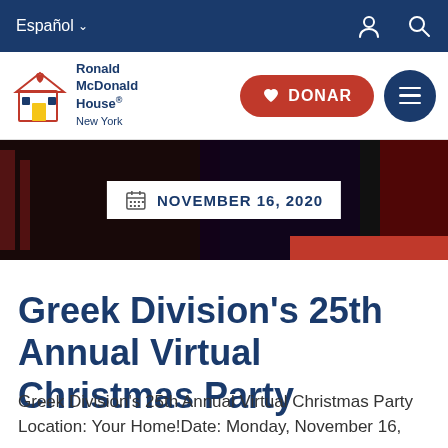Español
[Figure (logo): Ronald McDonald House New York logo with house icon]
[Figure (screenshot): Event banner image showing dark background with red accent, overlaid with date label: NOVEMBER 16, 2020]
Greek Division's 25th Annual Virtual Christmas Party
Greek Division's 25th Annual Virtual Christmas Party Location: Your Home!Date: Monday, November 16,